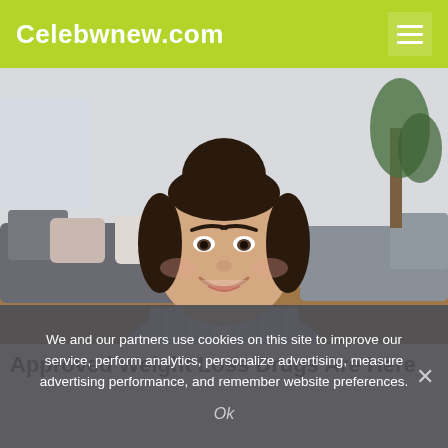Celebwnew.com
[Figure (photo): A smiling plus-size young woman with dark hair in a bun, wearing a light blue striped shirt, sitting in a living room with a grey sofa in the background.]
Approved Weight Loss Drugs Are Here
We and our partners use cookies on this site to improve our service, perform analytics, personalize advertising, measure advertising performance, and remember website preferences.
Ok